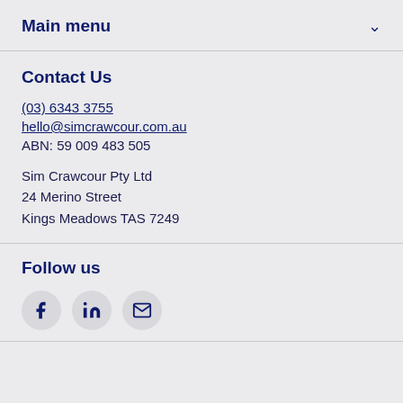Main menu
Contact Us
(03) 6343 3755
hello@simcrawcour.com.au
ABN: 59 009 483 505
Sim Crawcour Pty Ltd
24 Merino Street
Kings Meadows TAS 7249
Follow us
[Figure (infographic): Three circular social media icon buttons: Facebook (f), LinkedIn (in), and Email (envelope icon)]